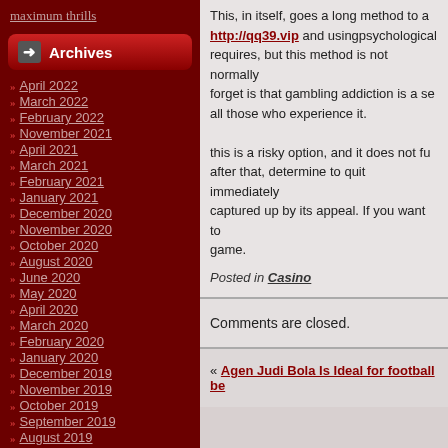maximum thrills
Archives
April 2022
March 2022
February 2022
November 2021
April 2021
March 2021
February 2021
January 2021
December 2020
November 2020
October 2020
August 2020
June 2020
May 2020
April 2020
March 2020
February 2020
January 2020
December 2019
November 2019
October 2019
September 2019
August 2019
July 2019
June 2019
This, in itself, goes a long method to a... http://qq39.vip and usingpsychological... requires, but this method is not normally... forget is that gambling addiction is a se... all those who experience it.
this is a risky option, and it does not fu... after that, determine to quit immediately... captured up by its appeal. If you want to... game.
Posted in Casino
Comments are closed.
« Agen Judi Bola Is Ideal for football be...